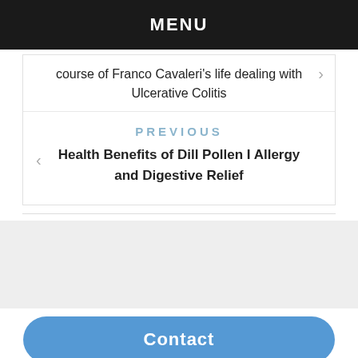MENU
course of Franco Cavaleri's life dealing with Ulcerative Colitis
PREVIOUS
Health Benefits of Dill Pollen I Allergy and Digestive Relief
Contact
To leave a comment, click the button below to